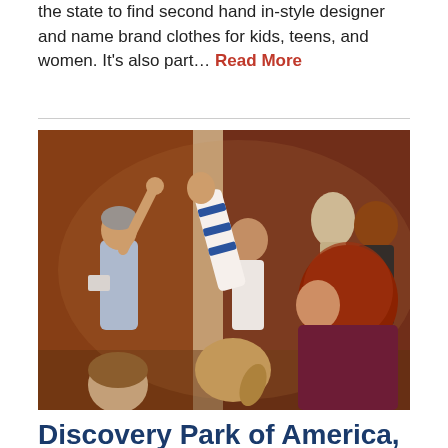the state to find second hand in-style designer and name brand clothes for kids, teens, and women. It's also part… Read More
[Figure (photo): Children and adults in a museum gallery setting; a guide points upward while children raise their hands, including a girl in a striped blue-and-white sleeve in the foreground.]
Discovery Park of America,